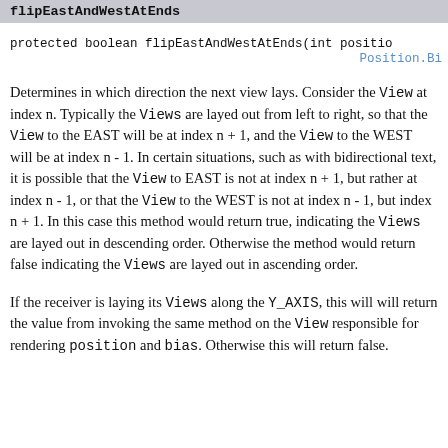flipEastAndWestAtEnds
protected boolean flipEastAndWestAtEnds(int position, Position.Bi
Determines in which direction the next view lays. Consider the View at index n. Typically the Views are layed out from left to right, so that the View to the EAST will be at index n + 1, and the View to the WEST will be at index n - 1. In certain situations, such as with bidirectional text, it is possible that the View to EAST is not at index n + 1, but rather at index n - 1, or that the View to the WEST is not at index n - 1, but index n + 1. In this case this method would return true, indicating the Views are layed out in descending order. Otherwise the method would return false indicating the Views are layed out in ascending order.
If the receiver is laying its Views along the Y_AXIS, this will will return the value from invoking the same method on the View responsible for rendering position and bias. Otherwise this will return false.